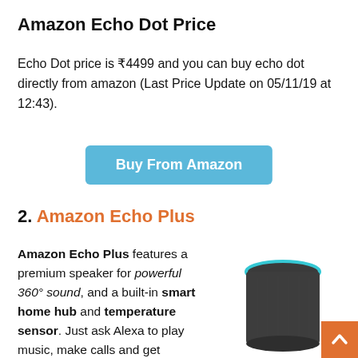Amazon Echo Dot Price
Echo Dot price is ₹4499 and you can buy echo dot directly from amazon (Last Price Update on 05/11/19 at 12:43).
[Figure (other): Blue Buy From Amazon button]
2. Amazon Echo Plus
Amazon Echo Plus features a premium speaker for powerful 360° sound, and a built-in smart home hub and temperature sensor. Just ask Alexa to play music, make calls and get
[Figure (photo): Amazon Echo Plus smart speaker — tall cylindrical dark grey fabric speaker with cyan ring at top]
[Figure (other): Orange back to top arrow button in bottom right corner]